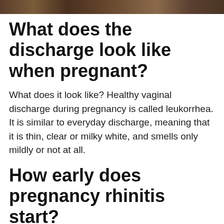[Figure (photo): A horizontal photo strip at the top of the page showing people]
What does the discharge look like when pregnant?
What does it look like? Healthy vaginal discharge during pregnancy is called leukorrhea. It is similar to everyday discharge, meaning that it is thin, clear or milky white, and smells only mildly or not at all.
How early does pregnancy rhinitis start?
When does pregnancy rhinitis start? Although pregnancy rhinitis may start at any time during pregnancy, it most commonly affects pregnant individuals in the first